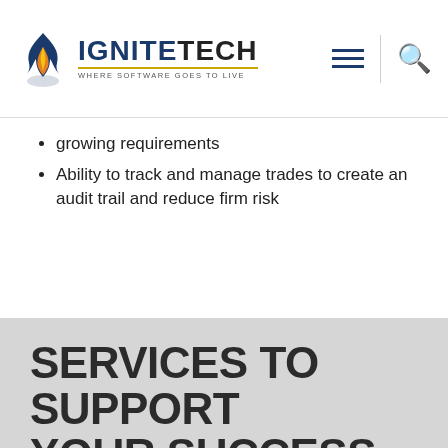IGNITETECH — WHERE SOFTWARE GOES TO LIVE
growing requirements
Ability to track and manage trades to create an audit trail and reduce firm risk
SERVICES TO SUPPORT YOUR SUCCESS
Support Services
Customer success is our #1 objective, and that's why we've created the IgniteTech Customer Support Program. The